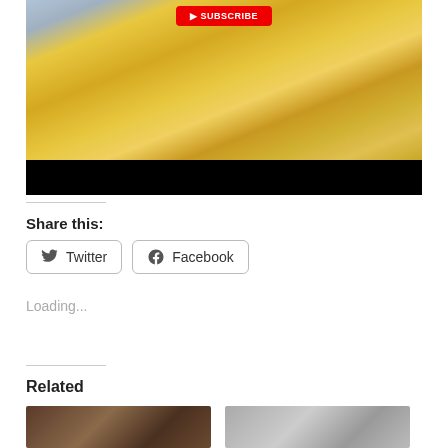[Figure (photo): Screenshot of a video player showing a person in a yellow plaid blazer and yellow top, with a red play button overlay at top center. Bottom portion shows a black letterbox bar.]
Share this:
Twitter
Facebook
Loading...
Related
[Figure (photo): Related thumbnail image on the left, dark toned photo]
[Figure (photo): Related thumbnail image on the right, lighter toned photo]